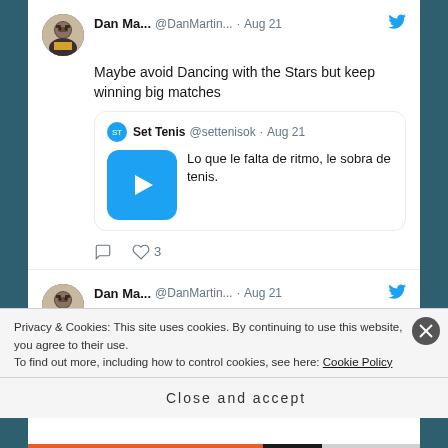Dan Ma... @DanMartin... · Aug 21
Maybe avoid Dancing with the Stars but keep winning big matches
Set Tenis @settenisok · Aug 21
Lo que le falta de ritmo, le sobra de tenis.
3
Dan Ma... @DanMartin... · Aug 21
To me, the post-Big 3 era may look a lot like Zverev and Tsitsipas. Certainly,
Privacy & Cookies: This site uses cookies. By continuing to use this website, you agree to their use.
To find out more, including how to control cookies, see here: Cookie Policy
Close and accept